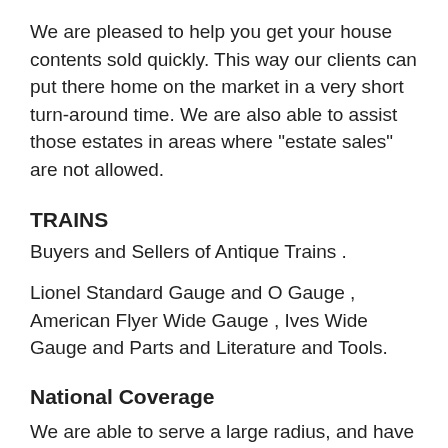We are pleased to help you get your house contents sold quickly. This way our clients can put there home on the market in a very short turn-around time. We are also able to assist those estates in areas where "estate sales" are not allowed.
TRAINS
Buyers and Sellers of Antique Trains .
Lionel Standard Gauge and O Gauge , American Flyer Wide Gauge , Ives Wide Gauge and Parts and Literature and Tools.
National Coverage
We are able to serve a large radius, and have done properties in states such as Arizona, California, Connecticut, Florida and New York. (we are based in Connecticut) We have turned "Estate & Business